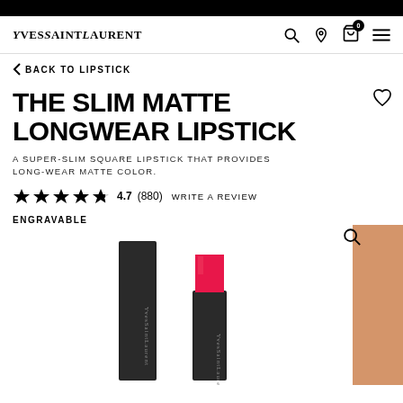YVES SAINT LAURENT
BACK TO LIPSTICK
THE SLIM MATTE LONGWEAR LIPSTICK
A SUPER-SLIM SQUARE LIPSTICK THAT PROVIDES LONG-WEAR MATTE COLOR.
4.7 (880) WRITE A REVIEW
ENGRAVABLE
[Figure (photo): YSL The Slim Matte Longwear Lipstick product image showing a slim black lipstick case with the lipstick extended revealing a hot pink/red matte color]